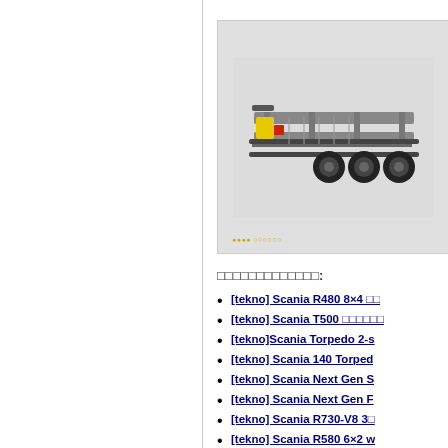[Figure (photo): Underside view of a Scania model truck (Tekno scale model) showing chassis, axles, and wheels against a light grey background]
□□□□□□□□□□□□□:
[tekno] Scania R480 8×4 □□
[tekno] Scania T500 □□□□□□
[tekno]Scania Torpedo 2-s
[tekno] Scania 140 Torped
[tekno] Scania Next Gen S
[tekno] Scania Next Gen F
[tekno] Scania R730-V8 3□
[tekno] Scania R580 6×2 w